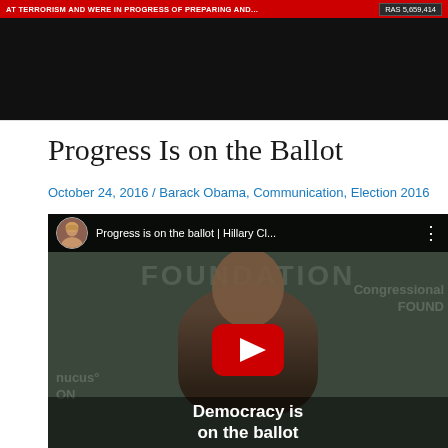[Figure (screenshot): Top portion of a webpage showing a video bar with red header reading text and a view counter badge showing 'RAS 5,659,414']
Progress Is on the Ballot
October 24, 2016 / Barack Obama, Communication, Election 2016
[Figure (screenshot): YouTube video thumbnail showing Barack Obama speaking at a Congressional Black Caucus Foundation event, with Hillary Clinton channel avatar, title 'Progress is on the ballot | Hillary Cl...', a red YouTube play button, and subtitle 'Democracy is on the ballot' overlaid at the bottom. The background shows 'FOUNDATION' text.]